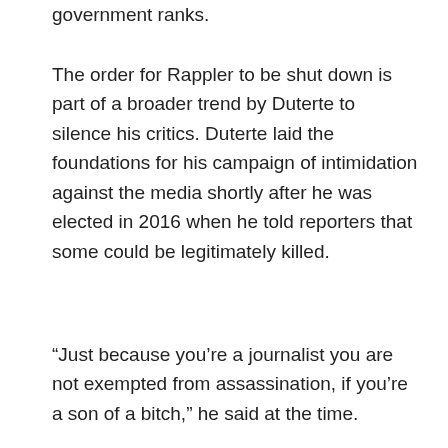government ranks.
The order for Rappler to be shut down is part of a broader trend by Duterte to silence his critics. Duterte laid the foundations for his campaign of intimidation against the media shortly after he was elected in 2016 when he told reporters that some could be legitimately killed.
“Just because you’re a journalist you are not exempted from assassination, if you’re a son of a bitch,” he said at the time.
YOU MIGHT ALSO LIKE
[Figure (photo): Police officers in riot gear and masks in a busy street scene, with a yellow sign showing '23662833' visible on the right side. SIP G2-0 badge visible on an officer. 'mornings' text visible on a banner.]